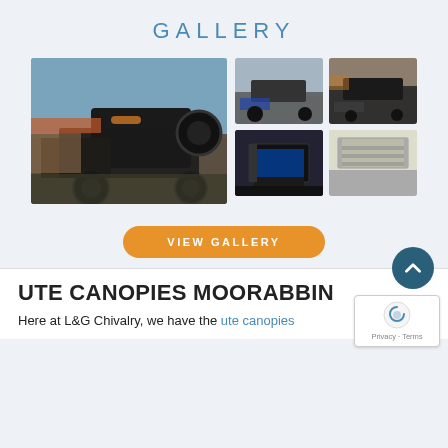GALLERY
[Figure (photo): Large photo of a black off-road vehicle with canopy, showing rear view in a parking area with trees]
[Figure (photo): Small photo of a ute with canopy being loaded, outdoor scene]
[Figure (photo): Small photo of a dark/black canopy on a ute, side view]
[Figure (photo): Small photo showing interior of a canopy with blue lighting]
[Figure (photo): Small photo of an aluminum/silver ute canopy interior shelving]
VIEW GALLERY
UTE CANOPIES MOORABBIN
Here at L&G Chivalry, we have the ute canopies